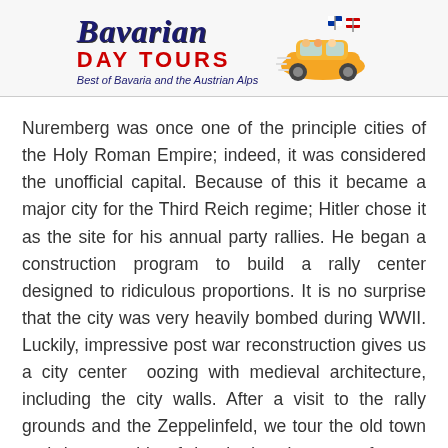Bavarian Day Tours — Best of Bavaria and the Austrian Alps
Nuremberg was once one of the principle cities of the Holy Roman Empire; indeed, it was considered the unofficial capital. Because of this it became a major city for the Third Reich regime; Hitler chose it as the site for his annual party rallies. He began a construction program to build a rally center designed to ridiculous proportions. It is no surprise that the city was very heavily bombed during WWII. Luckily, impressive post war reconstruction gives us a city center  oozing with medieval architecture, including the city walls. After a visit to the rally grounds and the Zeppelinfeld, we tour the old town and have a bit of lunch (maybe at a famous Nuremberg sausage place?)